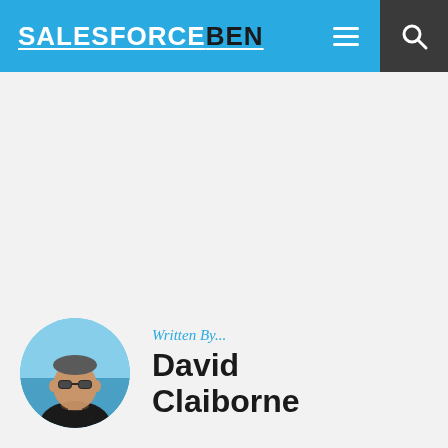SALESFORCEBEN
[Figure (photo): Circular profile photo of David Claiborne, a middle-aged man wearing sunglasses, with a beach/ocean background]
Written By...
David Claiborne